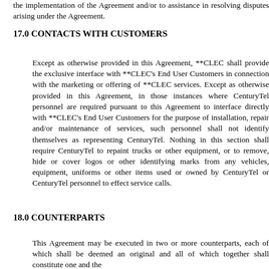the implementation of the Agreement and/or to assistance in resolving disputes arising under the Agreement.
17.0 CONTACTS WITH CUSTOMERS
Except as otherwise provided in this Agreement, **CLEC shall provide the exclusive interface with **CLEC's End User Customers in connection with the marketing or offering of **CLEC services. Except as otherwise provided in this Agreement, in those instances where CenturyTel personnel are required pursuant to this Agreement to interface directly with **CLEC's End User Customers for the purpose of installation, repair and/or maintenance of services, such personnel shall not identify themselves as representing CenturyTel. Nothing in this section shall require CenturyTel to repaint trucks or other equipment, or to remove, hide or cover logos or other identifying marks from any vehicles, equipment, uniforms or other items used or owned by CenturyTel or CenturyTel personnel to effect service calls.
18.0 COUNTERPARTS
This Agreement may be executed in two or more counterparts, each of which shall be deemed an original and all of which together shall constitute one and the